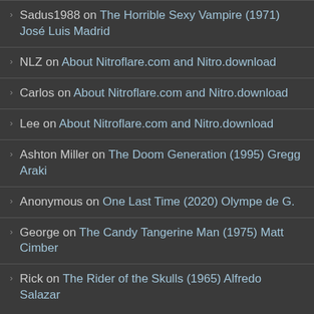Sadus1988 on The Horrible Sexy Vampire (1971) José Luis Madrid
NLZ on About Nitroflare.com and Nitro.download
Carlos on About Nitroflare.com and Nitro.download
Lee on About Nitroflare.com and Nitro.download
Ashton Miller on The Doom Generation (1995) Gregg Araki
Anonymous on One Last Time (2020) Olympe de G.
George on The Candy Tangerine Man (1975) Matt Cimber
Rick on The Rider of the Skulls (1965) Alfredo Salazar